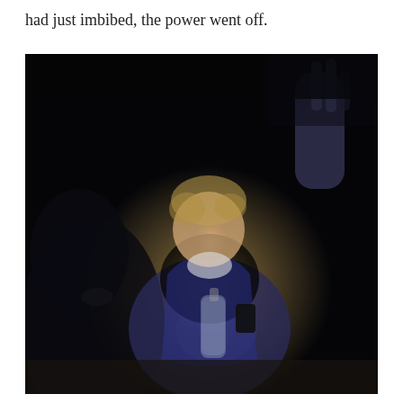had just imbibed, the power went off.
[Figure (photo): Dark photograph of people gathered around a light source in a dark room. A child or young person in a blue jacket is illuminated from below by a bright light, with a glass bottle visible in front. Another person is visible to the left, and a hand making a peace sign is raised in the upper right. The scene is very dark with only the central subject lit.]